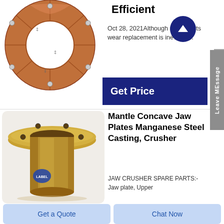[Figure (photo): Copper/bronze ring-shaped spare part (segmented bearing ring) with bolt holes, viewed from above]
Efficient
Oct 28, 2021Although spare parts wear replacement is inevitabl...
Get Price
[Figure (photo): Gold/brass colored cylindrical flange bushing with bolt holes on flange, standing upright on white surface, with blue label sticker]
Mantle Concave Jaw Plates Manganese Steel Casting, Crusher
JAW CRUSHER SPARE PARTS:-Jaw plate, Upper
Get a Quote
Chat Now